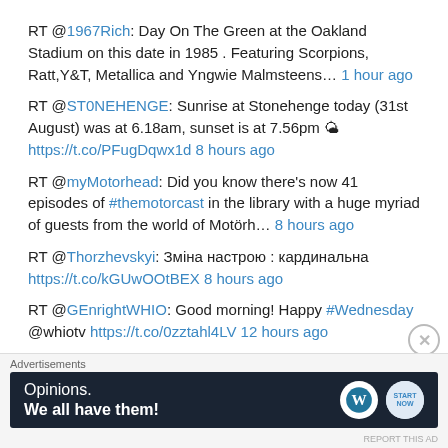RT @1967Rich: Day On The Green at the Oakland Stadium on this date in 1985 . Featuring Scorpions, Ratt,Y&T, Metallica and Yngwie Malmsteens… 1 hour ago
RT @ST0NEHENGE: Sunrise at Stonehenge today (31st August) was at 6.18am, sunset is at 7.56pm 🌤 https://t.co/PFugDqwx1d 8 hours ago
RT @myMotorhead: Did you know there's now 41 episodes of #themotorcast in the library with a huge myriad of guests from the world of Motörh… 8 hours ago
RT @Thorzhevskyi: Зміна настрою : кардинальна https://t.co/kGUwOOtBEX 8 hours ago
RT @GEnrightWHIO: Good morning! Happy #Wednesday @whiotv https://t.co/0zztahl4LV 12 hours ago
[Figure (screenshot): Advertisement banner: 'Opinions. We all have them!' with WordPress and another logo on dark navy background]